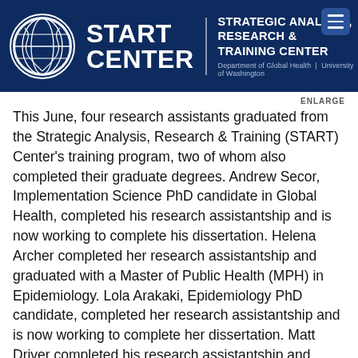[Figure (logo): START Center logo: globe icon on left, START CENTER text in white bold on dark navy background, vertical divider, STRATEGIC ANALYSIS, RESEARCH & TRAINING CENTER text, Department of Global Health | University of Washington subtitle, hamburger menu icon top right]
ENLARGE
This June, four research assistants graduated from the Strategic Analysis, Research & Training (START) Center's training program, two of whom also completed their graduate degrees. Andrew Secor, Implementation Science PhD candidate in Global Health, completed his research assistantship and is now working to complete his dissertation. Helena Archer completed her research assistantship and graduated with a Master of Public Health (MPH) in Epidemiology. Lola Arakaki, Epidemiology PhD candidate, completed her research assistantship and is now working to complete her dissertation. Matt Driver completed his research assistantship and graduated with a Master of Public Health (MPH) in Epidemiology.